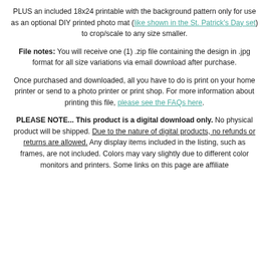PLUS an included 18x24 printable with the background pattern only for use as an optional DIY printed photo mat (like shown in the St. Patrick's Day set) to crop/scale to any size smaller.
File notes: You will receive one (1) .zip file containing the design in .jpg format for all size variations via email download after purchase.
Once purchased and downloaded, all you have to do is print on your home printer or send to a photo printer or print shop. For more information about printing this file, please see the FAQs here.
PLEASE NOTE... This product is a digital download only. No physical product will be shipped. Due to the nature of digital products, no refunds or returns are allowed. Any display items included in the listing, such as frames, are not included. Colors may vary slightly due to different color monitors and printers. Some links on this page are affiliate